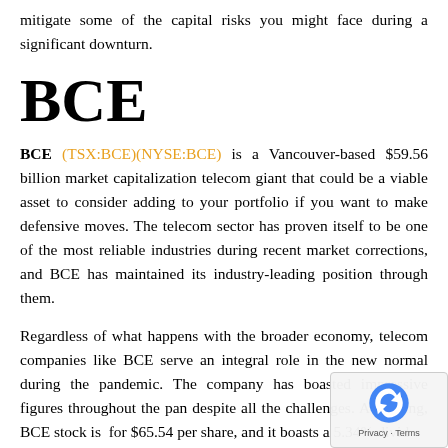mitigate some of the capital risks you might face during a significant downturn.
BCE
BCE (TSX:BCE)(NYSE:BCE) is a Vancouver-based $59.56 billion market capitalization telecom giant that could be a viable asset to consider adding to your portfolio if you want to make defensive moves. The telecom sector has proven itself to be one of the most reliable industries during recent market corrections, and BCE has maintained its industry-leading position through them.
Regardless of what happens with the broader economy, telecom companies like BCE serve an integral role in the new normal during the pandemic. The company has boasted impressive figures throughout the pandemic despite all the challenges. At writing, BCE stock is trading for $65.54 per share, and it boasts a 5.34% dividend yield